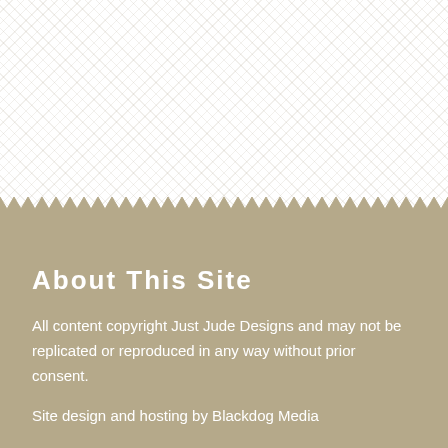[Figure (illustration): Top section with white crosshatch/diamond pattern background, transitioning to a tan/khaki color block below via a zigzag edge.]
About This Site
All content copyright Just Jude Designs and may not be replicated or reproduced in any way without prior consent.
Site design and hosting by Blackdog Media